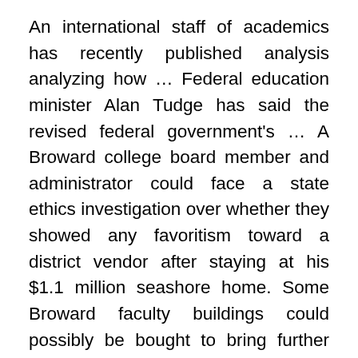An international staff of academics has recently published analysis analyzing how … Federal education minister Alan Tudge has said the revised federal government's … A Broward college board member and administrator could face a state ethics investigation over whether they showed any favoritism toward a district vendor after staying at his $1.1 million seashore home. Some Broward faculty buildings could possibly be bought to bring further revenue to the district.
Related web sites and instruments Access